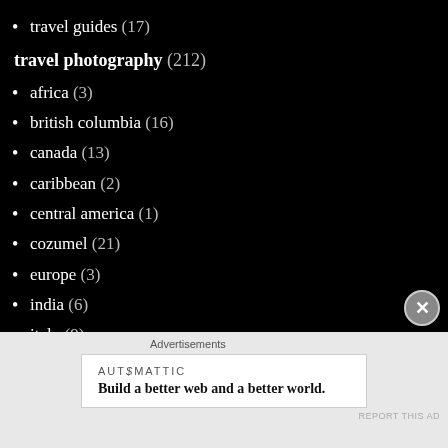travel guides (17)
travel photography (212)
africa (3)
british columbia (16)
canada (13)
caribbean (2)
central america (1)
cozumel (21)
europe (3)
india (6)
italy (9)
mexico (33)
mexico city (11)
Advertisements
AUTOMATTIC
Build a better web and a better world.